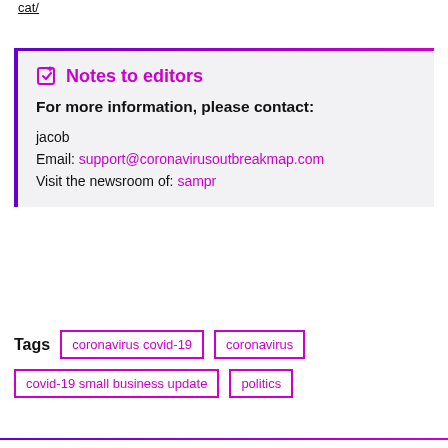cat/
Notes to editors
For more information, please contact:
jacob
Email: support@coronavirusoutbreakmap.com
Visit the newsroom of: sampr
Tags  coronavirus covid-19  coronavirus  covid-19 small business update  politics